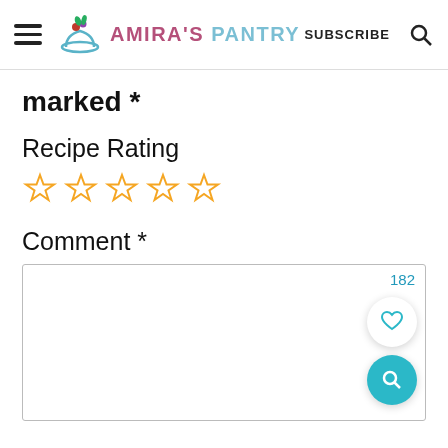Amira's Pantry — SUBSCRIBE
marked *
Recipe Rating
[Figure (other): Five empty/outline star rating icons in orange]
Comment *
[Figure (other): Comment text area with character count 182, heart button, and search button overlaid]